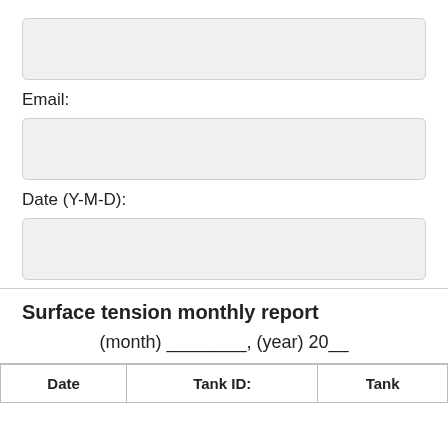[Figure (other): Empty input field (form field box)]
Email:
[Figure (other): Empty input field for email]
Date (Y-M-D):
[Figure (other): Empty input field for date]
Surface tension monthly report
(month) ________, (year) 20__
| Date | Tank ID: | Tank |
| --- | --- | --- |